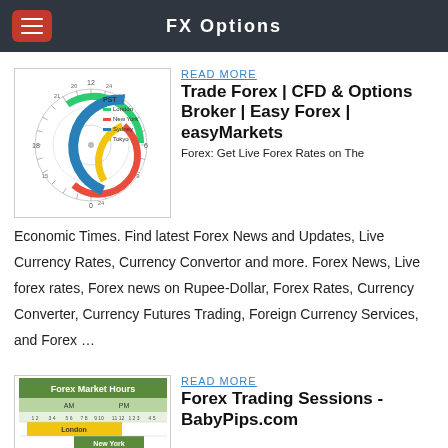FX Options
[Figure (other): Circular clock-style chart showing Forex trading session hours (PST) with colored arcs for London (green), New York (red), Sydney (blue), and Tokyo (yellow)]
READ MORE
Trade Forex | CFD & Options Broker | Easy Forex | easyMarkets
Forex: Get Live Forex Rates on The Economic Times. Find latest Forex News and Updates, Live Currency Rates, Currency Convertor and more. Forex News, Live forex rates, Forex news on Rupee-Dollar, Forex Rates, Currency Converter, Currency Futures Trading, Foreign Currency Services, and Forex …
[Figure (table-as-image): Forex Market Hours table showing AM and PM sessions for London, New York, Sydney, and Tokyo trading sessions with colored rows]
READ MORE
Forex Trading Sessions - BabyPips.com
Stock Market Watch © . All Rights Reserved. Stock Market Watch